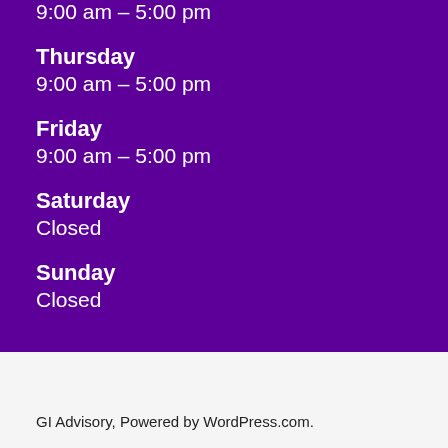9:00 am – 5:00 pm
Thursday
9:00 am – 5:00 pm
Friday
9:00 am – 5:00 pm
Saturday
Closed
Sunday
Closed
GI Advisory, Powered by WordPress.com.